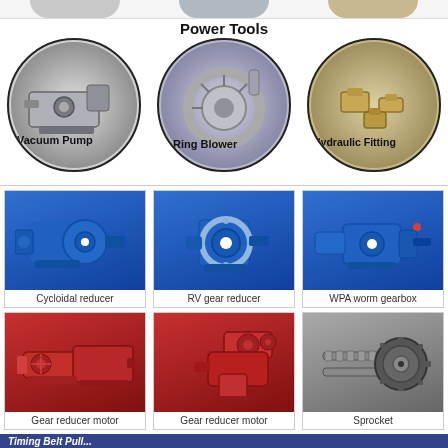Power Tools
[Figure (illustration): Circle icon: Vacuum Pump - industrial vacuum pump machinery]
Vacuum Pump
[Figure (illustration): Circle icon: Ring Blower - industrial ring blower / side channel blower]
Ring Blower
[Figure (illustration): Circle icon: Hydraulic Fitting - metal hydraulic fittings/connectors]
Hydraulic Fitting
[Figure (illustration): Blue cycloidal reducer gear motor]
Cycloidal reducer
[Figure (illustration): Blue RV gear reducer]
RV gear reducer
[Figure (illustration): Blue WPA worm gearbox]
WPA worm gearbox
[Figure (illustration): Red gear reducer motor (inline type)]
Gear reducer motor
[Figure (illustration): Red gear reducer motor (helical bevel type)]
Gear reducer motor
[Figure (illustration): Sprocket and chain drive]
Sprocket
Timing Belt Pull...